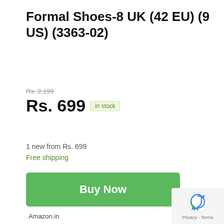Formal Shoes-8 UK (42 EU) (9 US) (3363-02)
Rs. 2,199
Rs. 699  in stock
1 new from Rs. 699
Free shipping
Buy Now
Amazon.in
as of August 20, 2022 12:00 am
Features